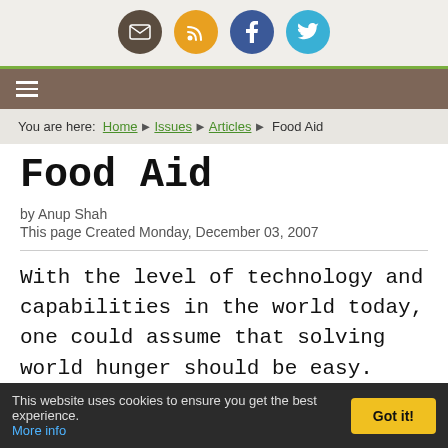[Figure (other): Social media icon buttons: email (brown), RSS (orange), Facebook (blue), Twitter (light blue)]
Navigation hamburger menu bar
You are here: Home ▶ Issues ▶ Articles ▶ Food Aid
Food Aid
by Anup Shah
This page Created Monday, December 03, 2007
With the level of technology and capabilities in the world today, one could assume that solving world hunger should be easy. Unfortunately it is not a technical issue as much as it is a political
This website uses cookies to ensure you get the best experience. More info  Got it!